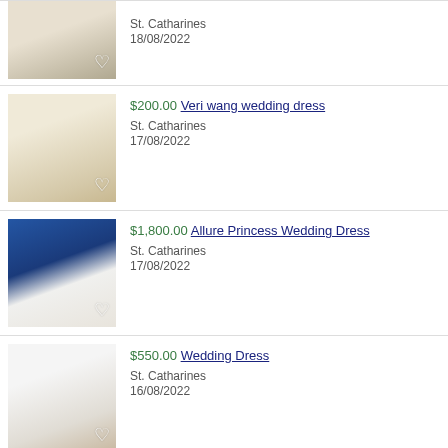[Figure (photo): Wedding dress hanging, partial view, top of listing]
St. Catharines
18/08/2022
[Figure (photo): White layered wedding dress on mannequin]
$200.00 Veri wang wedding dress
St. Catharines
17/08/2022
[Figure (photo): Allure princess wedding dress against blue background]
$1,800.00 Allure Princess Wedding Dress
St. Catharines
17/08/2022
[Figure (photo): White wedding dress with long train]
$550.00 Wedding Dress
St. Catharines
16/08/2022
[Figure (photo): Partial view of white wedding dress at bottom]
$79.00